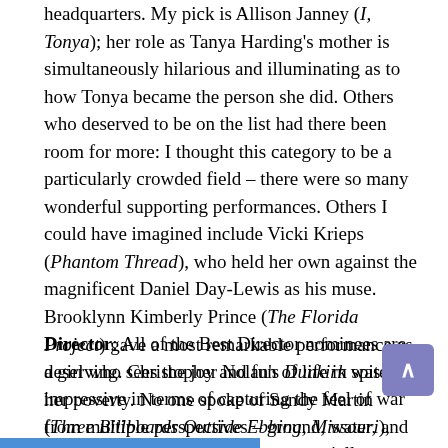headquarters. My pick is Allison Janney (I, Tonya); her role as Tanya Harding's mother is simultaneously hilarious and illuminating as to how Tonya became the person she did. Others who deserved to be on the list had there been room for more: I thought this category to be a particularly crowded field – there were so many wonderful supporting performances. Others I could have imagined include Vicki Krieps (Phantom Thread), who held her own against the magnificent Daniel Day-Lewis as his muse. Brooklynn Kimberly Prince (The Florida Project) gave a most remarkable performance as a girl who sees the joy and fun of life in spite of her poverty. No one spoke of Sandy Martin (Three Billboards Outside Ebbing, Missouri), who played Sam Rockwell's mother and was the perfect representation of old Jim Crow South.
Director: All of the Best Director nominees are deserving. Christopher Nolan's Dunkirk was impressive in terms of capturing the feel of war from multiple perspectives – ground, water, and air. Jordan Peele (Get Out) gave a socially conscious horror movie that is